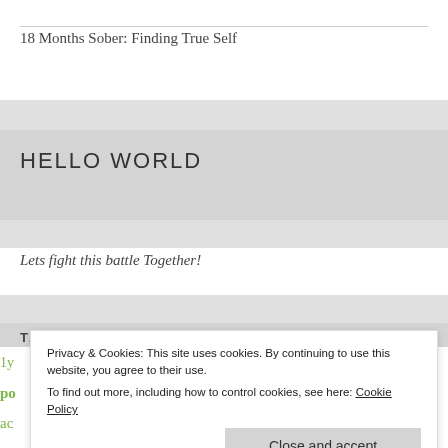18 Months Sober: Finding True Self
HELLO WORLD
Lets fight this battle Together!
TAGS
Privacy & Cookies: This site uses cookies. By continuing to use this website, you agree to their use. To find out more, including how to control cookies, see here: Cookie Policy
Close and accept